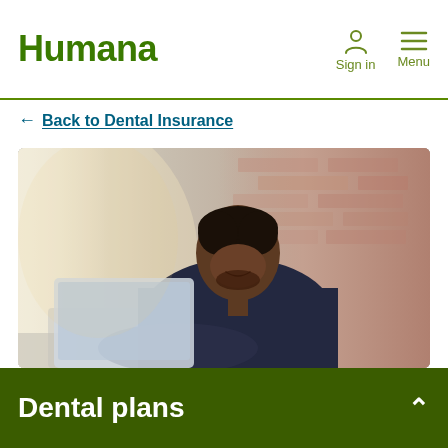Humana | Sign in | Menu
← Back to Dental Insurance
[Figure (photo): A smiling man in a dark blue sweater sitting and looking at a laptop, with a brick wall in the background. Warm natural lighting from the left side.]
Dental plans